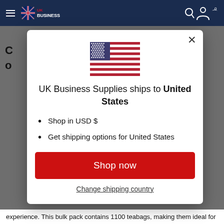[Figure (screenshot): UK Business Supplies website with a modal popup showing shipping to United States with US flag, 'Shop in USD $' and 'Get shipping options for United States' bullet points, a red 'Shop now' button, and 'Change shipping country' link.]
UK Business Supplies ships to United States
Shop in USD $
Get shipping options for United States
Shop now
Change shipping country
experience. This bulk pack contains 1100 teabags, making them ideal for